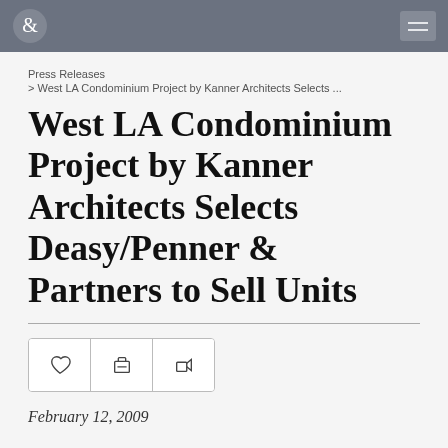Deasy/Penner & Partners logo and navigation
Press Releases
> West LA Condominium Project by Kanner Architects Selects ...
West LA Condominium Project by Kanner Architects Selects Deasy/Penner & Partners to Sell Units
February 12, 2009